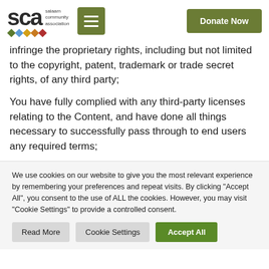SCA salaam community association | Donate Now
infringe the proprietary rights, including but not limited to the copyright, patent, trademark or trade secret rights, of any third party;
You have fully complied with any third-party licenses relating to the Content, and have done all things necessary to successfully pass through to end users any required terms;
We use cookies on our website to give you the most relevant experience by remembering your preferences and repeat visits. By clicking "Accept All", you consent to the use of ALL the cookies. However, you may visit "Cookie Settings" to provide a controlled consent.